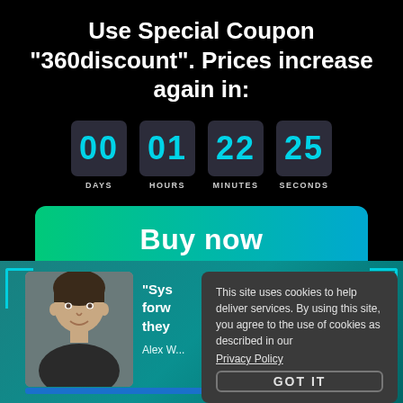Use Special Coupon "360discount". Prices increase again in:
[Figure (infographic): Countdown timer showing 00 DAYS, 01 HOURS, 22 MINUTES, 25 SECONDS in teal digital numbers on dark boxes]
Buy now
[Figure (photo): Man smiling, dark hair, with partial quote text '"Sys... forw... they...' and name 'Alex W...' on teal background]
This site uses cookies to help deliver services. By using this site, you agree to the use of cookies as described in our Privacy Policy GOT IT